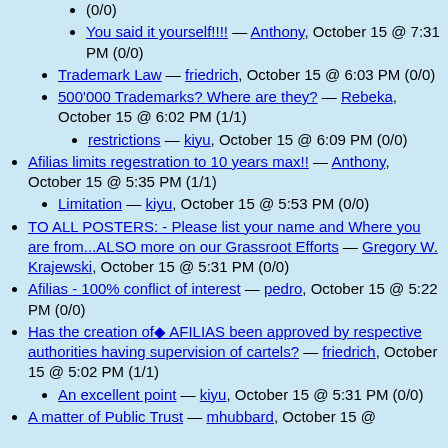(0/0)
You said it yourself!!!! — Anthony, October 15 @ 7:31 PM (0/0)
Trademark Law — friedrich, October 15 @ 6:03 PM (0/0)
500'000 Trademarks? Where are they? — Rebeka, October 15 @ 6:02 PM (1/1)
restrictions — kiyu, October 15 @ 6:09 PM (0/0)
Afilias limits regestration to 10 years max!! — Anthony, October 15 @ 5:35 PM (1/1)
Limitation — kiyu, October 15 @ 5:53 PM (0/0)
TO ALL POSTERS:  - Please list your name and Where you are from...ALSO more on our Grassroot Efforts — Gregory W. Krajewski, October 15 @ 5:31 PM (0/0)
Afilias - 100% conflict of interest — pedro, October 15 @ 5:22 PM (0/0)
Has the creation of◆ AFILIAS been approved by respective authorities having supervision of cartels? — friedrich, October 15 @ 5:02 PM (1/1)
An excellent point — kiyu, October 15 @ 5:31 PM (0/0)
A matter of Public Trust — mhubbard, October 15 @